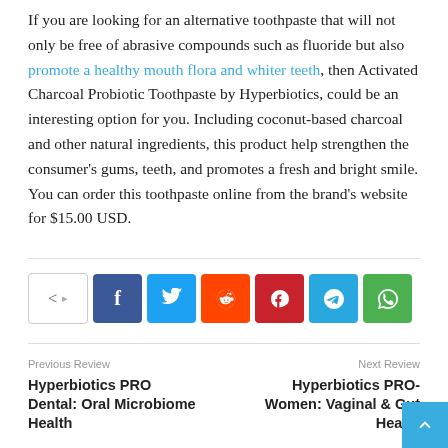If you are looking for an alternative toothpaste that will not only be free of abrasive compounds such as fluoride but also promote a healthy mouth flora and whiter teeth, then Activated Charcoal Probiotic Toothpaste by Hyperbiotics, could be an interesting option for you. Including coconut-based charcoal and other natural ingredients, this product help strengthen the consumer's gums, teeth, and promotes a fresh and bright smile. You can order this toothpaste online from the brand's website for $15.00 USD.
[Figure (infographic): Social sharing buttons row: share icon box, Facebook (dark blue), Twitter (blue), Reddit (orange-red), Pinterest (red), Telegram (blue), WhatsApp (green)]
Previous Review
Hyperbiotics PRO Dental: Oral Microbiome Health
Next Review
Hyperbiotics PRO-Women: Vaginal & Gut Health